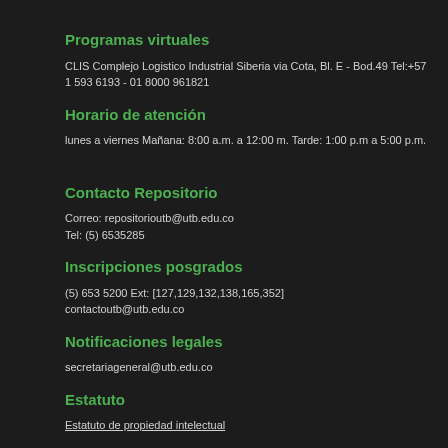Programas virtuales
CLIS Complejo Logistico Industrial Siberia via Cota, Bl. E - Bod.49 Tel:+57 1 593 6193 - 01 8000 961821
Horario de atención
lunes a viernes Mañana: 8:00 a.m. a 12:00 m. Tarde: 1:00 p.m a 5:00 p.m.
Contacto Repositorio
Correo: repositorioutb@utb.edu.co
Tel: (5) 6535285
Inscripciones posgrados
(5) 653 5200 Ext: [127,129,132,138,165,352]
contactoutb@utb.edu.co
Notificaciones legales
secretariageneral@utb.edu.co
Estatuto
Estatuto de propiedad intelectual